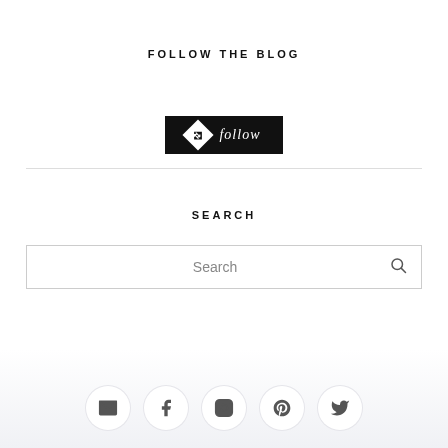FOLLOW THE BLOG
[Figure (other): A black rectangular follow button with a white diamond/arrow icon on the left and italic 'follow' text in white on the right]
SEARCH
[Figure (other): A search input box with placeholder text 'Search' and a magnifying glass icon on the right]
[Figure (other): Social media icons row: email envelope, Facebook f, Instagram camera, Pinterest P, Twitter bird — each in a circular button]